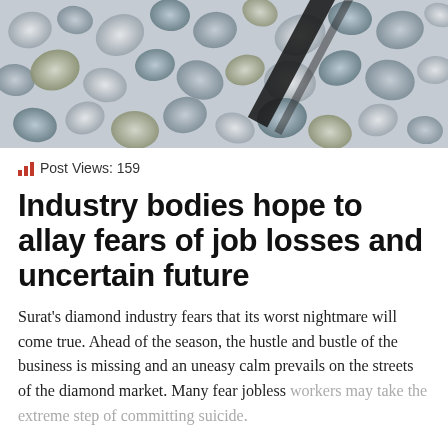[Figure (photo): Close-up photo of rough uncut diamonds in various grey, blue, and yellow hues, with a dark diagonal object visible]
Post Views: 159
Industry bodies hope to allay fears of job losses and uncertain future
Surat's diamond industry fears that its worst nightmare will come true. Ahead of the season, the hustle and bustle of the business is missing and an uneasy calm prevails on the streets of the diamond market. Many fear jobless workers may take the extreme step of committing suicide.